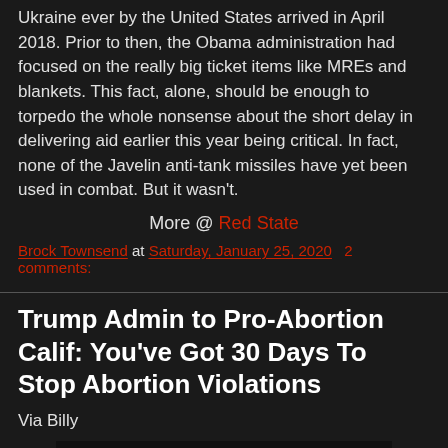Ukraine ever by the United States arrived in April 2018. Prior to then, the Obama administration had focused on the really big ticket items like MREs and blankets. This fact, alone, should be enough to torpedo the whole nonsense about the short delay in delivering aid earlier this year being critical. In fact, none of the Javelin anti-tank missiles have yet been used in combat. But it wasn't.
More @ Red State
Brock Townsend at Saturday, January 25, 2020  2 comments:
Trump Admin to Pro-Abortion Calif: You've Got 30 Days To Stop Abortion Violations
Via Billy
[Figure (screenshot): Fox News video thumbnail showing text 'Trump speaks at ...' with Fox News logo and three-dot menu icon]